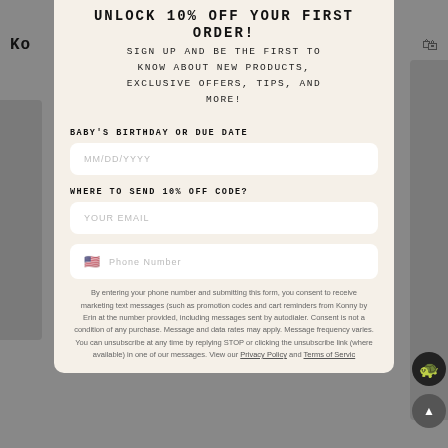UNLOCK 10% OFF YOUR FIRST ORDER!
SIGN UP AND BE THE FIRST TO KNOW ABOUT NEW PRODUCTS, EXCLUSIVE OFFERS, TIPS, AND MORE!
BABY'S BIRTHDAY OR DUE DATE
MM/DD/YYYY
WHERE TO SEND 10% OFF CODE?
YOUR EMAIL
Phone Number
By entering your phone number and submitting this form, you consent to receive marketing text messages (such as promotion codes and cart reminders from Konny by Erin at the number provided, including messages sent by autodialer. Consent is not a condition of any purchase. Message and data rates may apply. Message frequency varies. You can unsubscribe at any time by replying STOP or clicking the unsubscribe link (where available) in one of our messages. View our Privacy Policy and Terms of Servic